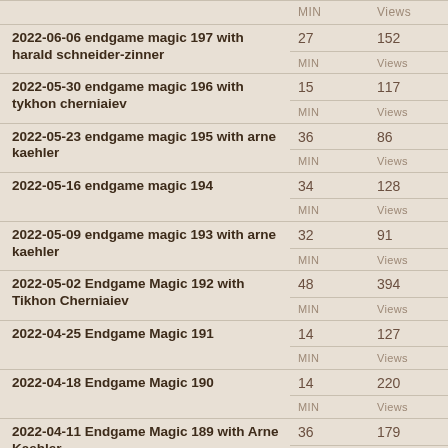|  | MIN | Views |
| --- | --- | --- |
| 2022-06-06 endgame magic 197 with harald schneider-zinner | 27 MIN | 152 Views |
| 2022-05-30 endgame magic 196 with tykhon cherniaiev | 15 MIN | 117 Views |
| 2022-05-23 endgame magic 195 with arne kaehler | 36 MIN | 86 Views |
| 2022-05-16 endgame magic 194 | 34 MIN | 128 Views |
| 2022-05-09 endgame magic 193 with arne kaehler | 32 MIN | 91 Views |
| 2022-05-02 Endgame Magic 192 with Tikhon Cherniaiev | 48 MIN | 394 Views |
| 2022-04-25 Endgame Magic 191 | 14 MIN | 127 Views |
| 2022-04-18 Endgame Magic 190 | 14 MIN | 220 Views |
| 2022-04-11 Endgame Magic 189 with Arne Kaehler | 36 MIN | 179 Views |
| 2022-04-04- Endgame Magic 188 with Elisabeth Paehtz | 48 MIN | 194 Views |